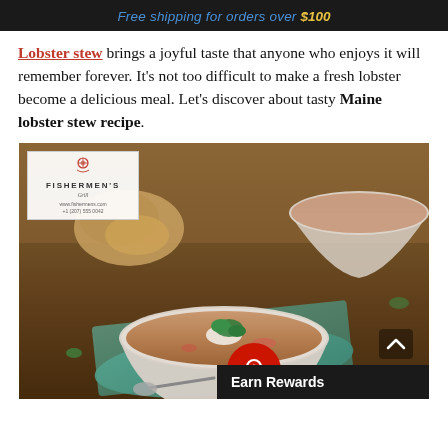Free shipping for orders over $100
Lobster stew brings a joyful taste that anyone who enjoys it will remember forever. It's not too difficult to make a fresh lobster become a delicious meal. Let's discover about tasty Maine lobster stew recipe.
[Figure (photo): Photo of lobster stew in a white bowl on a teal napkin on a wooden table, with biscuits in the background, garnished with cream and parsley. A Fishermen's logo watermark appears in the upper-left corner of the image.]
Earn Rewards